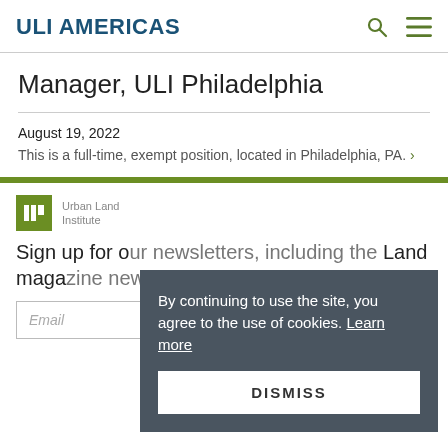ULI AMERICAS
Manager, ULI Philadelphia
August 19, 2022
This is a full-time, exempt position, located in Philadelphia, PA.
[Figure (logo): Urban Land Institute logo with green ULI box and text]
Sign up for our newsletters, including the Land magazine newsletter.
Email / SIGN UP
By continuing to use the site, you agree to the use of cookies. Learn more
DISMISS